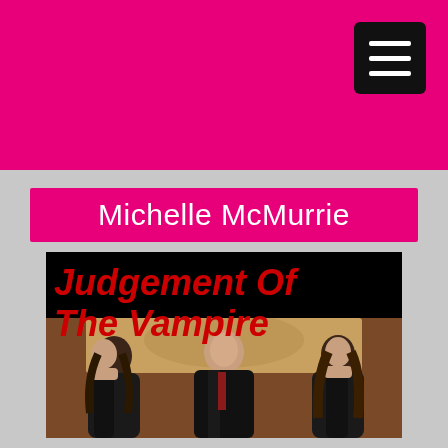Michelle McMurrie
[Figure (illustration): Book cover for 'Judgement Of The Vampire' by Michelle McMurrie. Black background with red italic stylized text reading 'Judgement Of The Vampire'. Below the title is a photo of three people — two women and one man in the center — dressed in black formal attire, seated in a dark ornate setting with a vintage map on the wall behind them.]